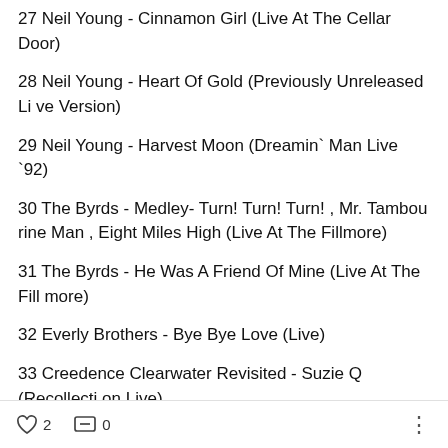27 Neil Young - Cinnamon Girl (Live At The Cellar Door)
28 Neil Young - Heart Of Gold (Previously Unreleased Live Version)
29 Neil Young - Harvest Moon (Dreamin` Man Live `92)
30 The Byrds - Medley- Turn! Turn! Turn! , Mr. Tambourine Man , Eight Miles High (Live At The Fillmore)
31 The Byrds - He Was A Friend Of Mine (Live At The Fillmore)
32 Everly Brothers - Bye Bye Love (Live)
33 Creedence Clearwater Revisited - Suzie Q (Recollection Live)
34 ABBA - I`m Still Alive (Live At Wembley Arena, London 1979)
♡ 2   💬 0   ⋮